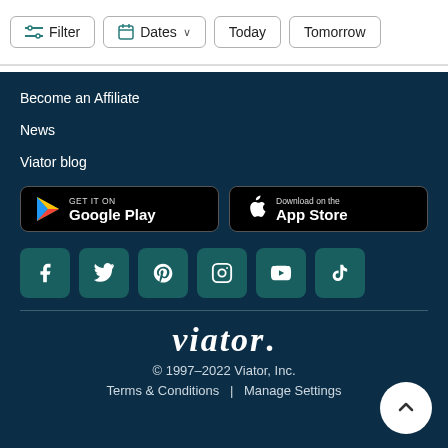Filter  Dates  Today  Tomorrow
Become an Affiliate
News
Viator blog
[Figure (screenshot): Google Play store download button (black rounded rectangle with Play icon and text 'GET IT ON Google Play')]
[Figure (screenshot): Apple App Store download button (black rounded rectangle with Apple logo and text 'Download on the App Store')]
[Figure (infographic): Six social media icons on teal square buttons: Facebook, Twitter, Pinterest, Instagram, YouTube, TikTok]
[Figure (logo): Viator wordmark in white italic serif font]
© 1997–2022 Viator, Inc.
Terms & Conditions | Manage Settings